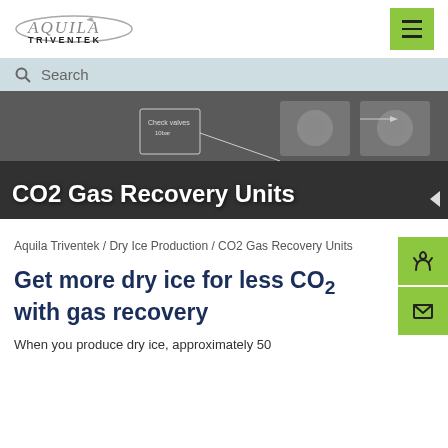[Figure (logo): Aquila Triventek logo with oval ellipse graphic and company name]
Search
[Figure (photo): Industrial CO2 gas recovery equipment with schematic overlay showing check valves and Revert CO2 label]
CO2 Gas Recovery Units
Aquila Triventek / Dry Ice Production / CO2 Gas Recovery Units
Get more dry ice for less CO2 with gas recovery
When you produce dry ice, approximately 50